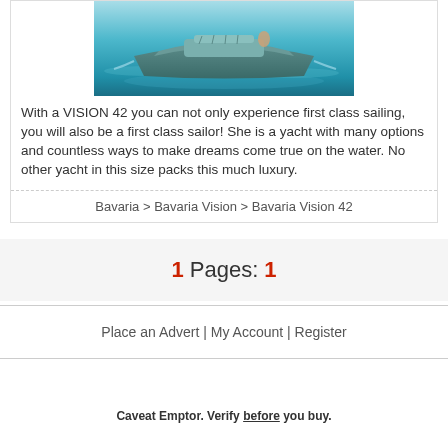[Figure (photo): Photo of a Bavaria Vision 42 yacht sailing on teal/turquoise water, viewed from above-front angle]
With a VISION 42 you can not only experience first class sailing, you will also be a first class sailor! She is a yacht with many options and countless ways to make dreams come true on the water. No other yacht in this size packs this much luxury.
Bavaria > Bavaria Vision > Bavaria Vision 42
1 Pages: 1
Place an Advert | My Account | Register
Caveat Emptor. Verify before you buy.